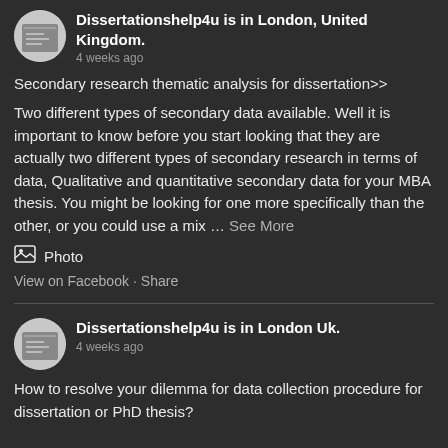Dissertationshelp4u is in London, United Kingdom.
4 weeks ago
Secondary research thematic analysis for dissertation>>
Two different types of secondary data available. Well it is important to know before you start looking that they are actually two different types of secondary research in terms of data, Qualitative and quantitative secondary data for your MBA thesis. You might be looking for one more specifically than the other, or you could use a mix … See More
[Figure (other): Photo icon with label 'Photo']
View on Facebook · Share
Dissertationshelp4u is in London Uk.
4 weeks ago
How to resolve your dilemma for data collection procedure for dissertation or PhD thesis?